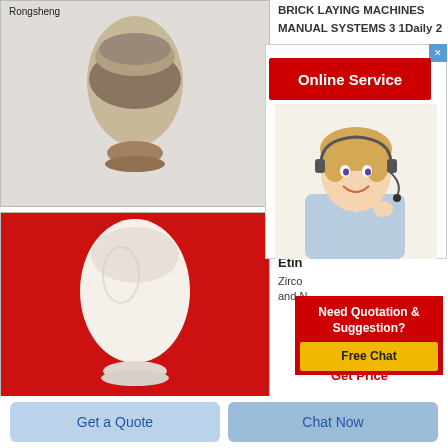[Figure (photo): A ceramic or refractory material sample in a vase/egg shape on gray background, with 'Rongsheng' label in top left]
[Figure (photo): A white powder or material sample in an egg/vase shape on red background]
BRICK LAYING MACHINES MANUAL SYSTEMS 3 1Daily 2
[Figure (screenshot): Online Service popup with a customer service agent woman wearing headset and red Online Service button]
Etin
Zirco and N
[Figure (infographic): Need Quotation & Suggestion? Free Chat popup overlay]
Get Price
Get a Quote
Chat Now